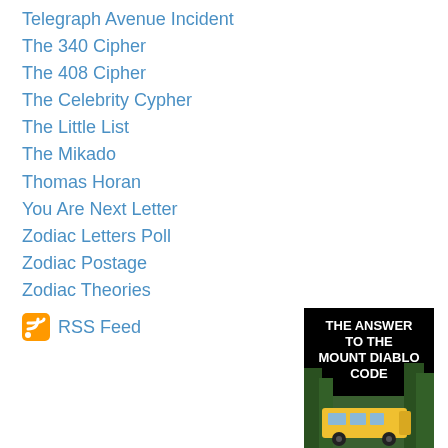Telegraph Avenue Incident
The 340 Cipher
The 408 Cipher
The Celebrity Cypher
The Little List
The Mikado
Thomas Horan
You Are Next Letter
Zodiac Letters Poll
Zodiac Postage
Zodiac Theories
RSS Feed
[Figure (photo): Book cover: THE ANSWER TO THE MOUNT DIABLO CODE with image of a school bus in a forested area]